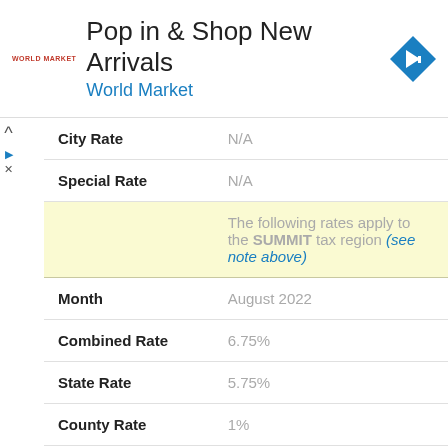[Figure (other): World Market advertisement banner with logo, headline 'Pop in & Shop New Arrivals', subtitle 'World Market', and blue diamond navigation arrow icon]
| Field | Value |
| --- | --- |
| City Rate | N/A |
| Special Rate | N/A |
|  | The following rates apply to the SUMMIT tax region (see note above) |
| Month | August 2022 |
| Combined Rate | 6.75% |
| State Rate | 5.75% |
| County Rate | 1% |
| City Rate | N/A |